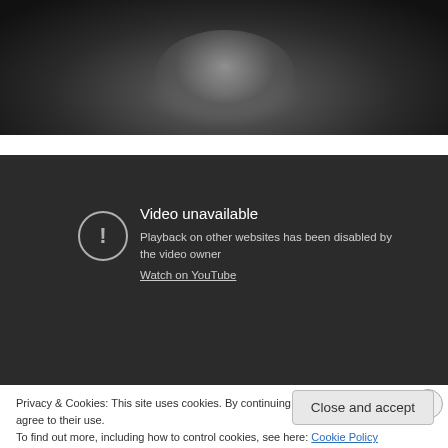[Figure (photo): Dark screenshot of a person's face, blurred, against dark background]
[Figure (screenshot): Embedded video player showing 'Video unavailable' error message with exclamation icon and 'Watch on YouTube' link]
Privacy & Cookies: This site uses cookies. By continuing to use this website, you agree to their use.
To find out more, including how to control cookies, see here: Cookie Policy
Close and accept